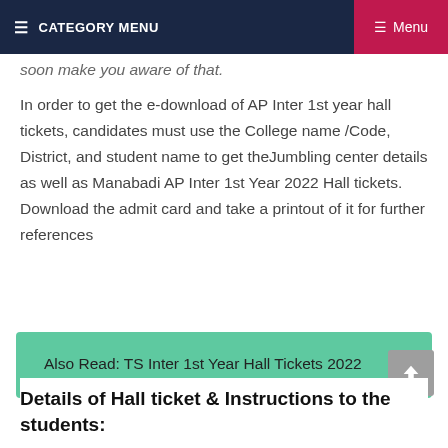≡ CATEGORY MENU   ≡ Menu
soon make you aware of that.
In order to get the e-download of AP Inter 1st year hall tickets, candidates must use the College name /Code, District, and student name to get theJumbling center details as well as Manabadi AP Inter 1st Year 2022 Hall tickets. Download the admit card and take a printout of it for further references
Also Read: TS Inter 1st Year Hall Tickets 2022
Details of Hall ticket & Instructions to the students: